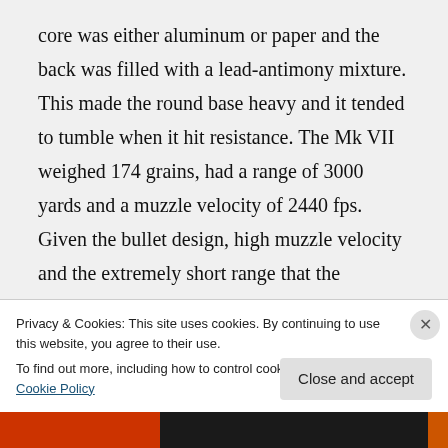core was either aluminum or paper and the back was filled with a lead-antimony mixture. This made the round base heavy and it tended to tumble when it hit resistance. The Mk VII weighed 174 grains, had a range of 3000 yards and a muzzle velocity of 2440 fps. Given the bullet design, high muzzle velocity and the extremely short range that the weapons were being fired from it is highly improbable that any bullets did not pass straight
Privacy & Cookies: This site uses cookies. By continuing to use this website, you agree to their use.
To find out more, including how to control cookies, see here: Cookie Policy
Close and accept